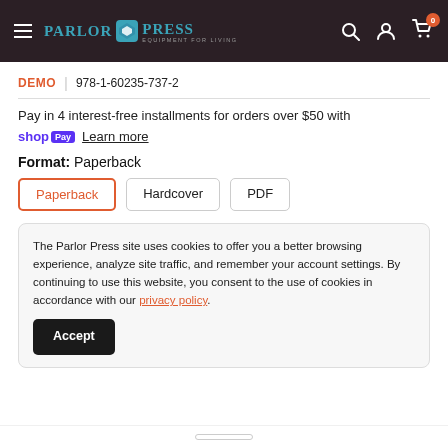Parlor Press — Equipment for Living | Navigation: search, account, cart (0)
DEMO | 978-1-60235-737-2
Pay in 4 interest-free installments for orders over $50 with shop Pay Learn more
Format: Paperback
Paperback | Hardcover | PDF
The Parlor Press site uses cookies to offer you a better browsing experience, analyze site traffic, and remember your account settings. By continuing to use this website, you consent to the use of cookies in accordance with our privacy policy.
Accept